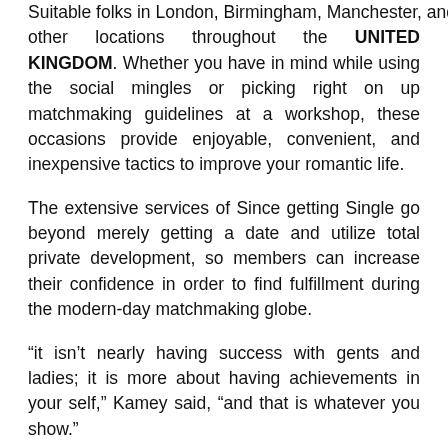Suitable folks in London, Birmingham, Manchester, and other locations throughout the UNITED KINGDOM. Whether you have in mind while using the social mingles or picking right on up matchmaking guidelines at a workshop, these occasions provide enjoyable, convenient, and inexpensive tactics to improve your romantic life.
The extensive services of Since getting Single go beyond merely getting a date and utilize total private development, so members can increase their confidence in order to find fulfillment during the modern-day matchmaking globe.
“it isn’t nearly having success with gents and ladies; it is more about having achievements in your self,” Kamey said, “and that is whatever you show.”
Mentoring Guys & ladies Through Dating Programs